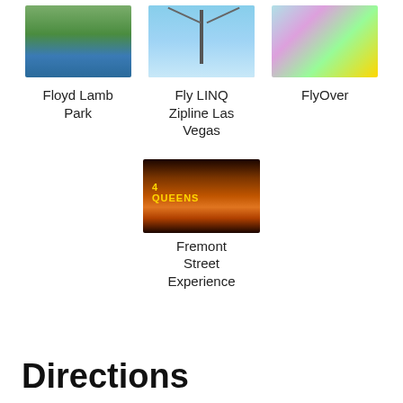[Figure (photo): Photo of Floyd Lamb Park showing a lake with trees in autumn colors]
Floyd Lamb Park
[Figure (photo): Photo of Fly LINQ Zipline Las Vegas showing zipline towers against blue sky]
Fly LINQ Zipline Las Vegas
[Figure (photo): Photo of FlyOver attraction showing colorful scene with person experiencing ride]
FlyOver
[Figure (photo): Photo of Fremont Street Experience showing illuminated sign and crowd]
Fremont Street Experience
Directions